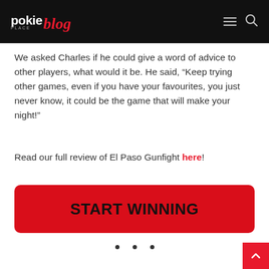pokie place blog
We asked Charles if he could give a word of advice to other players, what would it be. He said, “Keep trying other games, even if you have your favourites, you just never know, it could be the game that will make your night!”
Read our full review of El Paso Gunfight here!
[Figure (other): Red CTA button with bold black text reading START WINNING]
[Figure (other): Three small decorative dots (ellipsis separator)]